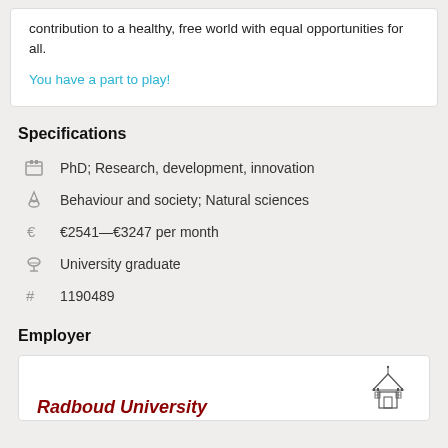contribution to a healthy, free world with equal opportunities for all.
You have a part to play!
Specifications
PhD; Research, development, innovation
Behaviour and society; Natural sciences
€2541—€3247 per month
University graduate
1190489
Employer
[Figure (logo): Radboud University logo with Gothic-style building crest icon and red italic text]